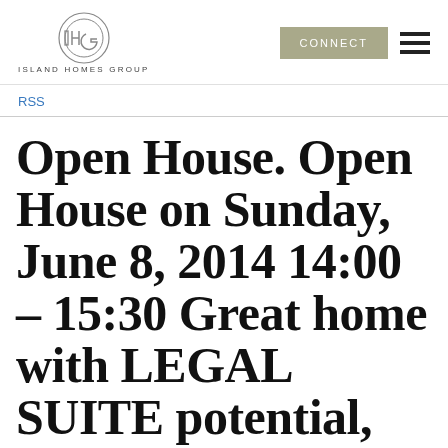[Figure (logo): Island Homes Group logo — circular emblem with IHG letters and text ISLAND HOMES GROUP below]
CONNECT
RSS
Open House. Open House on Sunday, June 8, 2014 14:00 – 15:30 Great home with LEGAL SUITE potential, amazing waterviews! tons of parking!